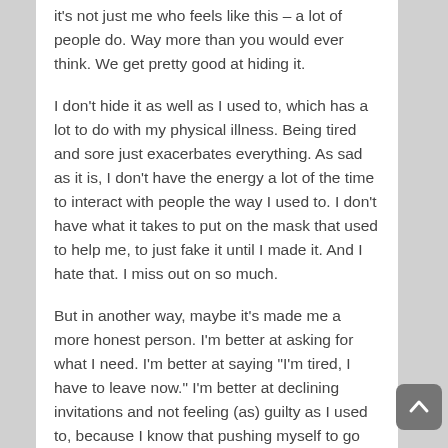it's not just me who feels like this – a lot of people do. Way more than you would ever think. We get pretty good at hiding it.
I don't hide it as well as I used to, which has a lot to do with my physical illness. Being tired and sore just exacerbates everything. As sad as it is, I don't have the energy a lot of the time to interact with people the way I used to. I don't have what it takes to put on the mask that used to help me, to just fake it until I made it. And I hate that. I miss out on so much.
But in another way, maybe it's made me a more honest person. I'm better at asking for what I need. I'm better at saying "I'm tired, I have to leave now." I'm better at declining invitations and not feeling (as) guilty as I used to, because I know that pushing myself to go will only hurt my body later.
Social anxiety is something a lot of people deal...